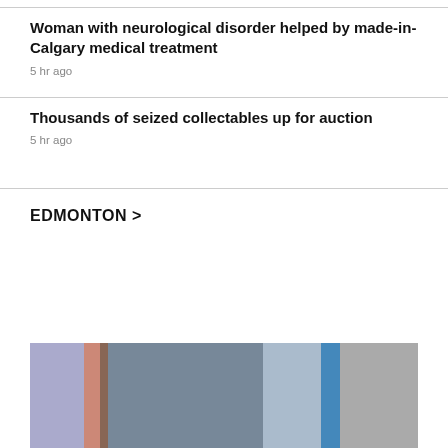Woman with neurological disorder helped by made-in-Calgary medical treatment
5 hr ago
Thousands of seized collectables up for auction
5 hr ago
EDMONTON >
[Figure (photo): Blurred outdoor photo, appears to show a building or sign with blue sky visible, Edmonton news section image]